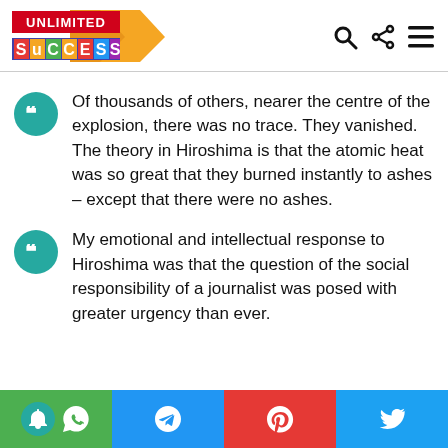[Figure (logo): Unlimited Success logo with orange arrow, red banner for UNLIMITED text and multicolor SUCCESS letters on purple background]
Of thousands of others, nearer the centre of the explosion, there was no trace. They vanished. The theory in Hiroshima is that the atomic heat was so great that they burned instantly to ashes – except that there were no ashes.
My emotional and intellectual response to Hiroshima was that the question of the social responsibility of a journalist was posed with greater urgency than ever.
[Figure (infographic): Social sharing footer bar with notification bell, WhatsApp, Telegram, Pinterest, and Twitter icons]